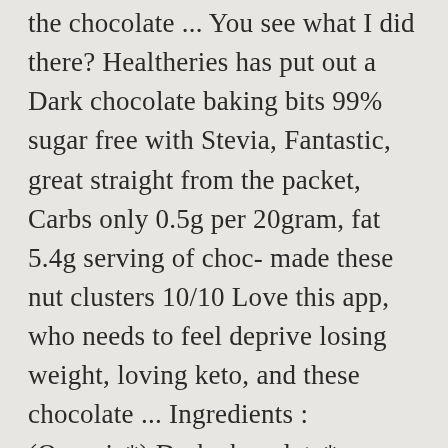the chocolate ... You see what I did there? Healtheries has put out a Dark chocolate baking bits 99% sugar free with Stevia, Fantastic, great straight from the packet, Carbs only 0.5g per 20gram, fat 5.4g serving of choc- made these nut clusters 10/10 Love this app, who needs to feel deprive losing weight, loving keto, and these chocolate ... Ingredients : (Organic*) Dark chocolate* (unsweetened cocolate*, cane sugar*, cocoa butter*), Pecans*, Coconut*, Sugar* (brown rice syrup*, maple syrup*), Almonds*, Pumpkin seeds*, Hemp seeds*, ... Organic Dark Chocolate Nuggets Coconuts + Super Seeds NON-GMO CouvertureChocolate Clusters with Pumpkin, Sunflower, and Chia Seeds, Gluten Free,